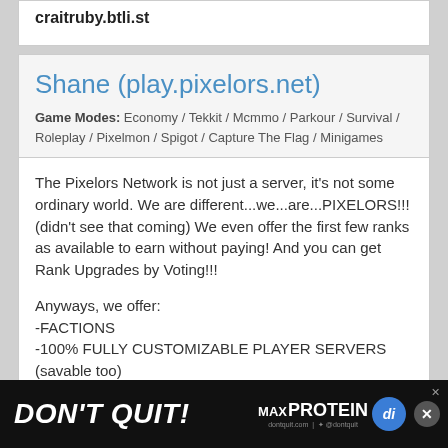craitruby.btli.st
Shane (play.pixelors.net)
Game Modes: Economy / Tekkit / Mcmmo / Parkour / Survival / Roleplay / Pixelmon / Spigot / Capture The Flag / Minigames
The Pixelors Network is not just a server, it's not some ordinary world. We are different...we...are...PIXELORS!!! (didn't see that coming) We even offer the first few ranks as available to earn without paying! And you can get Rank Upgrades by Voting!!!
Anyways, we offer:
-FACTIONS
-100% FULLY CUSTOMIZABLE PLAYER SERVERS (savable too)
[Figure (screenshot): Advertisement banner: DON'T QUIT! MAX PROTEIN ad with di logo and close button]